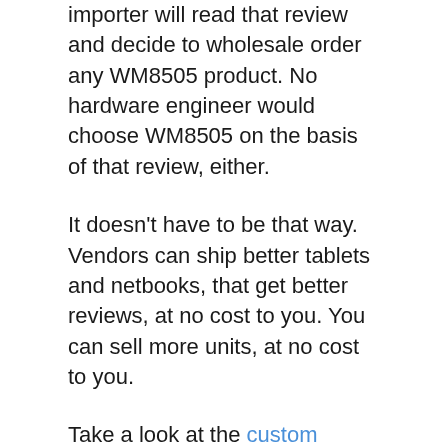importer will read that review and decide to wholesale order any WM8505 product. No hardware engineer would choose WM8505 on the basis of that review, either.
It doesn't have to be that way. Vendors can ship better tablets and netbooks, that get better reviews, at no cost to you. You can sell more units, at no cost to you.
Take a look at the custom firmware on Slatedroid.com. Every one of those people has modded the same proprietary WM8505 build of Android 1.6 to try and make it better. It runs faster and smoother and has more features. They have spent hours of their time trying to make your products better.
Take a look at the rough port I did of Android 2.2 this week. It's very poor quality, but it doesn't have to be. It